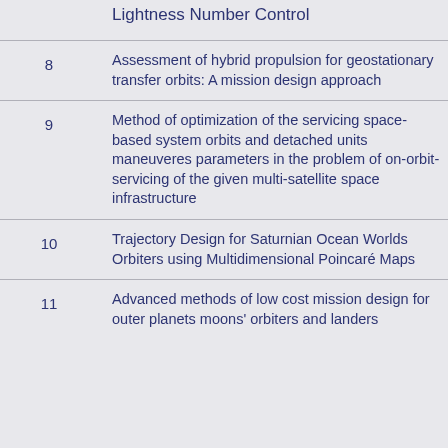| # | Title | Time |
| --- | --- | --- |
|  | Lightness Number Control |  |
| 8 | Assessment of hybrid propulsion for geostationary transfer orbits: A mission design approach | 15' |
| 9 | Method of optimization of the servicing space-based system orbits and detached units maneuveres parameters in the problem of on-orbit-servicing of the given multi-satellite space infrastructure | 15' |
| 10 | Trajectory Design for Saturnian Ocean Worlds Orbiters using Multidimensional Poincaré Maps | 15' |
| 11 | Advanced methods of low cost mission design for outer planets moons' orbiters and landers | 15' |